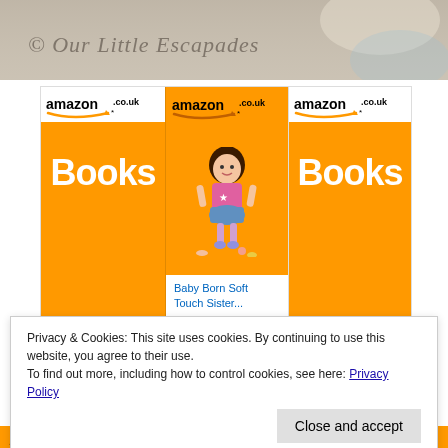[Figure (photo): Top strip showing a photo with watermark '© Our Little Escapades' in italic serif text overlaid on a light beige/grey background suggesting a photo of children]
[Figure (infographic): Three Amazon.co.uk advertisement panels side by side on orange background. Left and right panels show 'Books' with 'Click here' buttons and 'Privacy Information' links. Middle panel shows a Baby Born doll product with title 'Baby Born Soft Touch Sister...', price £40.49, and 'Shop now' button with Amazon logo.]
The following of BABY b...
Privacy & Cookies: This site uses cookies. By continuing to use this website, you agree to their use.
To find out more, including how to control cookies, see here: Privacy Policy
Close and accept
photographed in this post as a gift. This was for the purposes of